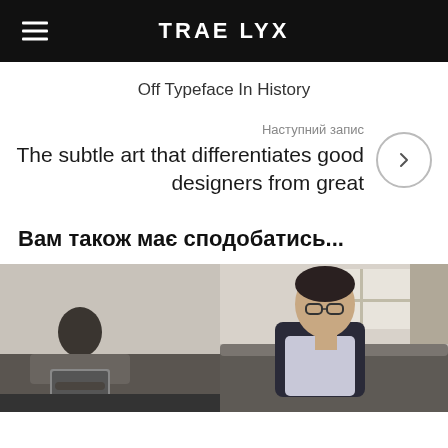TRAE LYX
Off Typeface In History
Наступний запис
The subtle art that differentiates good designers from great
Вам також має сподобатись...
[Figure (photo): Two-panel photo showing people working/sitting, left panel shows a person on a laptop, right panel shows a man with glasses sitting on a couch]